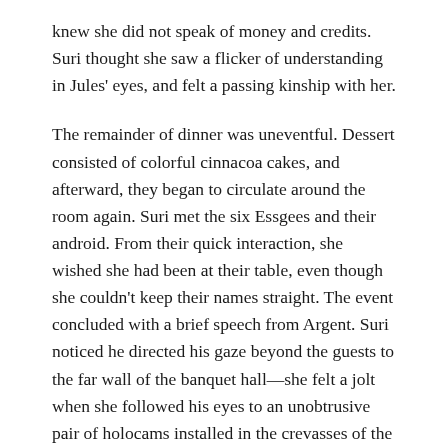knew she did not speak of money and credits. Suri thought she saw a flicker of understanding in Jules' eyes, and felt a passing kinship with her.
The remainder of dinner was uneventful. Dessert consisted of colorful cinnacoa cakes, and afterward, they began to circulate around the room again. Suri met the six Essgees and their android. From their quick interaction, she wished she had been at their table, even though she couldn't keep their names straight. The event concluded with a brief speech from Argent. Suri noticed he directed his gaze beyond the guests to the far wall of the banquet hall—she felt a jolt when she followed his eyes to an unobtrusive pair of holocams installed in the crevasses of the ceiling. Was the entire station under surveillance?